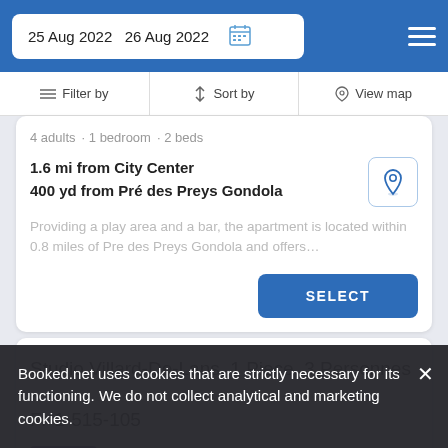25 Aug 2022  26 Aug 2022
Filter by  Sort by  View map
4 adults · 1 bedroom · 2 beds
1.6 mi from City Center
400 yd from Pré des Preys Gondola
Providing a play area and a bar, the apartment is located within 0.8 miles of Pre des Preys Gondola and offers…
SELECT
Studio Villard-De-Lans, 1 Piece, 3 Personnes - Fr-1-515-105
Apartment
Booked.net uses cookies that are strictly necessary for its functioning. We do not collect analytical and marketing cookies.